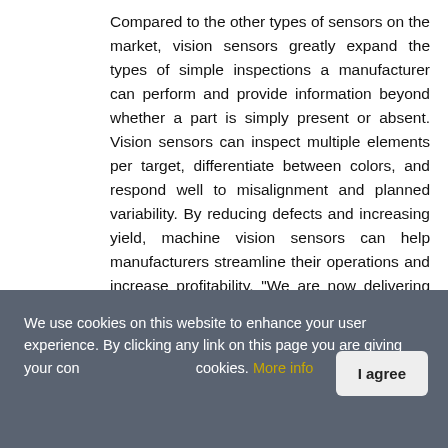Compared to the other types of sensors on the market, vision sensors greatly expand the types of simple inspections a manufacturer can perform and provide information beyond whether a part is simply present or absent. Vision sensors can inspect multiple elements per target, differentiate between colors, and respond well to misalignment and planned variability. By reducing defects and increasing yield, machine vision sensors can help manufacturers streamline their operations and increase profitability. "We are now delivering large deployments of Cognex products that we expect will be recognized as revenue in Q3," says Willett.
[Figure (photo): Partial image visible at the bottom of the content area, mostly gray gradient, content cut off by cookie banner.]
We use cookies on this website to enhance your user experience. By clicking any link on this page you are giving your con... cookies. More info